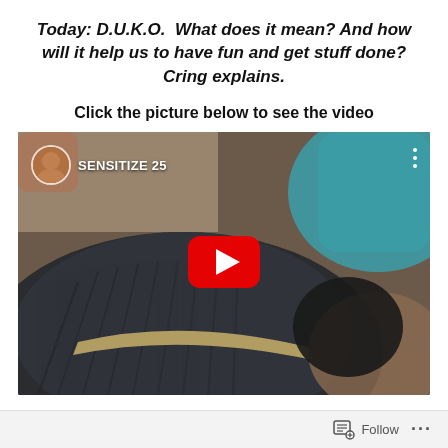Today: D.U.K.O.  What does it mean? And how will it help us to have fun and get stuff done? Cring explains.
Click the picture below to see the video
[Figure (screenshot): YouTube video thumbnail showing a person wearing a dark ribbed hat, with a teal/blue fabric visible in the background. The video is titled 'SENSITIZE 25' with a circular avatar in the top-left corner and a red YouTube play button in the center.]
Follow ···